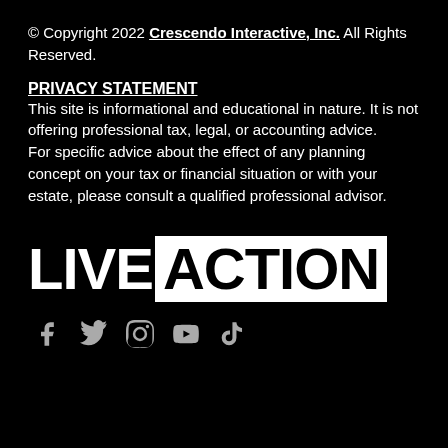© Copyright 2022 Crescendo Interactive, Inc. All Rights Reserved.
PRIVACY STATEMENT
This site is informational and educational in nature. It is not offering professional tax, legal, or accounting advice.
For specific advice about the effect of any planning concept on your tax or financial situation or with your estate, please consult a qualified professional advisor.
[Figure (logo): LIVE ACTION logo — 'LIVE' in white bold text, 'ACTION' in black bold text on a white rectangle background]
[Figure (infographic): Social media icons: Facebook, Twitter, Instagram, YouTube, TikTok — displayed in grey]